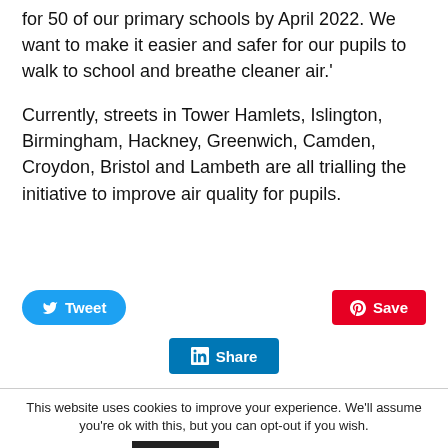for 50 of our primary schools by April 2022. We want to make it easier and safer for our pupils to walk to school and breathe cleaner air.'
Currently, streets in Tower Hamlets, Islington, Birmingham, Hackney, Greenwich, Camden, Croydon, Bristol and Lambeth are all trialling the initiative to improve air quality for pupils.
[Figure (other): Social share buttons: Tweet (Twitter), Save (Pinterest), Share (LinkedIn)]
This website uses cookies to improve your experience. We'll assume you're ok with this, but you can opt-out if you wish. Accept Read More